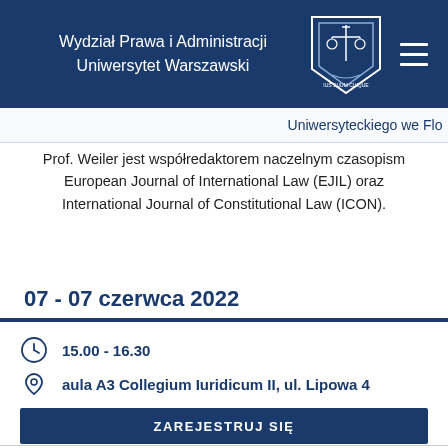Wydział Prawa i Administracji Uniwersytet Warszawski
Uniwersyteckiego we Flo...
Prof. Weiler jest współredaktorem naczelnym czasopism European Journal of International Law (EJIL) oraz International Journal of Constitutional Law (ICON).
07 - 07 czerwca 2022
15.00 - 16.30
aula A3 Collegium Iuridicum II, ul. Lipowa 4
ZAREJESTRUJ SIĘ